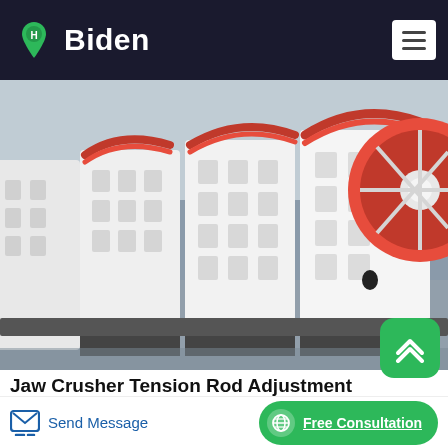Biden
[Figure (photo): Row of large white jaw crusher machines in an industrial factory floor, with red flywheels visible on the rightmost unit.]
Jaw Crusher Tension Rod Adjustment
1.5.8 Tension rod 10 1.5.9 Shaft bearings 10 1.6 Material for components of jaw crusher 11 Jaw crushers are used as